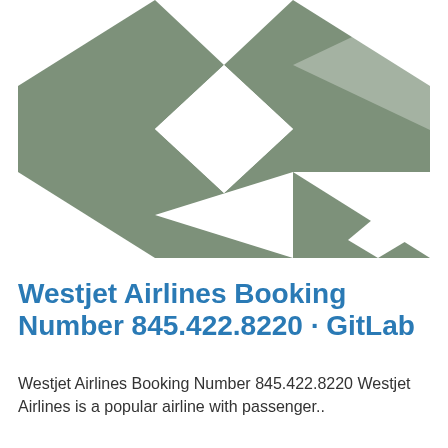[Figure (illustration): Decorative geometric pattern banner with olive/sage green background and white geometric shapes including triangles, diamonds, and arrows arranged in a repeating pattern.]
Westjet Airlines Booking Number 845.422.8220 · GitLab
Westjet Airlines Booking Number 845.422.8220 Westjet Airlines is a popular airline with passenger..